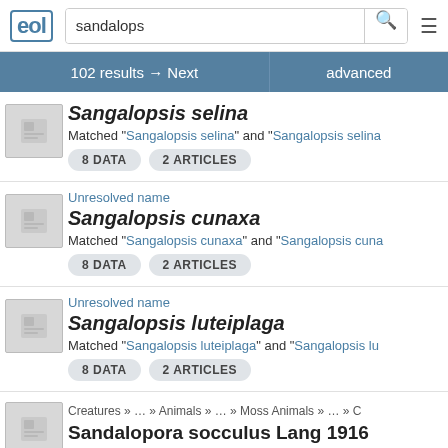eol | sandalops [search] ≡
102 results → Next | advanced
Sangalopsis selina - Matched "Sangalopsis selina" and "Sangalopsis selina... - 8 DATA  2 ARTICLES
Unresolved name
Sangalopsis cunaxa
Matched "Sangalopsis cunaxa" and "Sangalopsis cuna...
8 DATA  2 ARTICLES
Unresolved name
Sangalopsis luteiplaga
Matched "Sangalopsis luteiplaga" and "Sangalopsis lu...
8 DATA  2 ARTICLES
Creatures » ... » Animals » ... » Moss Animals » ... » C...
Sandalopora socculus Lang 1916
Matched "Sandalopora socculus Lang 1916" and "San...
16 DATA